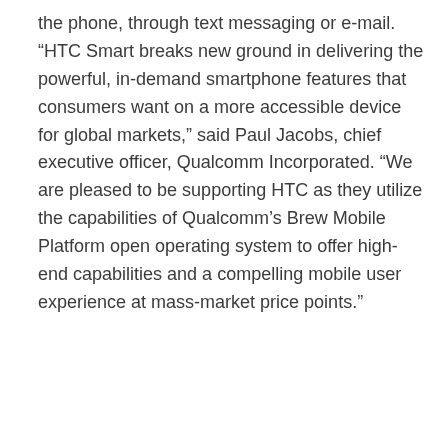the phone, through text messaging or e-mail. “HTC Smart breaks new ground in delivering the powerful, in-demand smartphone features that consumers want on a more accessible device for global markets,” said Paul Jacobs, chief executive officer, Qualcomm Incorporated. “We are pleased to be supporting HTC as they utilize the capabilities of Qualcomm’s Brew Mobile Platform open operating system to offer high-end capabilities and a compelling mobile user experience at mass-market price points.”